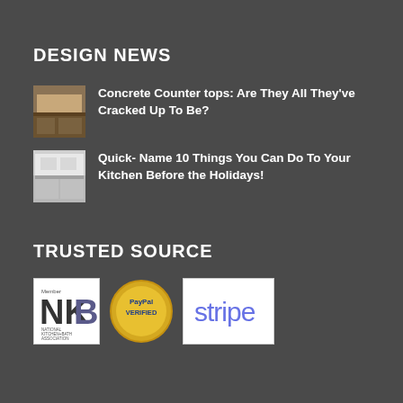DESIGN NEWS
Concrete Counter tops: Are They All They've Cracked Up To Be?
Quick- Name 10 Things You Can Do To Your Kitchen Before the Holidays!
TRUSTED SOURCE
[Figure (logo): NKBA - National Kitchen+Bath Association member logo]
[Figure (logo): PayPal Verified seal]
[Figure (logo): Stripe payment logo]